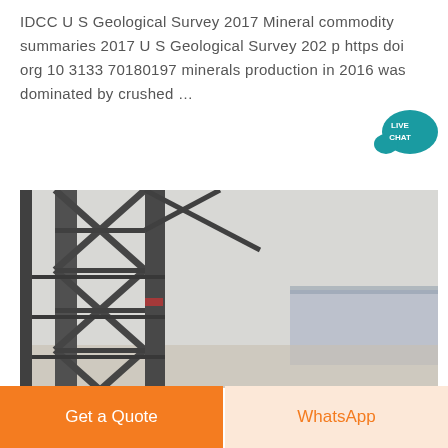IDCC U S Geological Survey 2017 Mineral commodity summaries 2017 U S Geological Survey 202 p https doi org 10 3133 70180197 minerals production in 2016 was dominated by crushed …
[Figure (photo): Industrial steel truss structure or conveyor framework photographed in foggy/hazy conditions, with a large warehouse or industrial building visible in the background.]
Get a Quote
WhatsApp